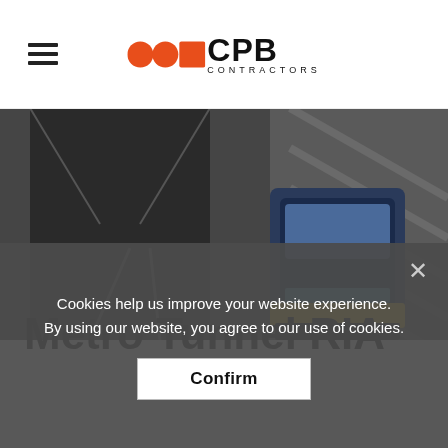[Figure (logo): CPB Contractors logo with orange circles/square and bold black text]
[Figure (photo): A train emerging from a dark tunnel, hero image for Metro Tunnel RIA project page]
Metro Tunnel RIA
Cookies help us improve your website experience. By using our website, you agree to our use of cookies.
Confirm